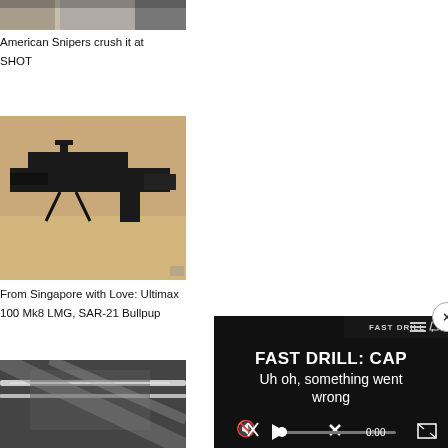[Figure (photo): Partial view of a person (sniper) in shooting gear, top of page, cropped]
American Snipers crush it at SHOT
[Figure (photo): Ultimax 100 Mk8 LMG / SAR-21 Bullpup firearm on a stand against sandy background]
From Singapore with Love: Ultimax 100 Mk8 LMG, SAR-21 Bullpup
[Figure (photo): Close-up black and white photo of firearm parts]
[Figure (screenshot): Video player overlay showing FAST DRILL: CAP title with error message 'Uh oh, something went wrong', muted icon, progress bar at 0:00, play button, fullscreen button. Close (X) button at top right.]